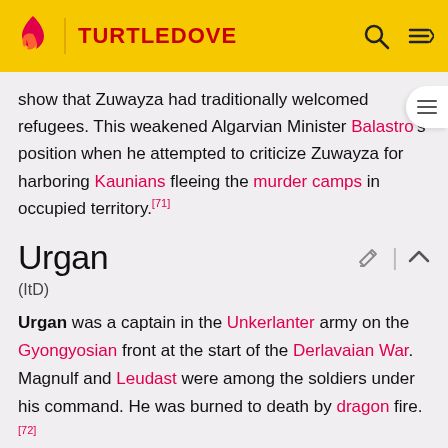TURTLEDOVE
show that Zuwayza had traditionally welcomed refugees. This weakened Algarvian Minister Balastro's position when he attempted to criticize Zuwayza for harboring Kaunians fleeing the murder camps in occupied territory.[71]
Urgan
(ItD)
Urgan was a captain in the Unkerlanter army on the Gyongyosian front at the start of the Derlavaian War. Magnulf and Leudast were among the soldiers under his command. He was burned to death by dragon fire.[72]